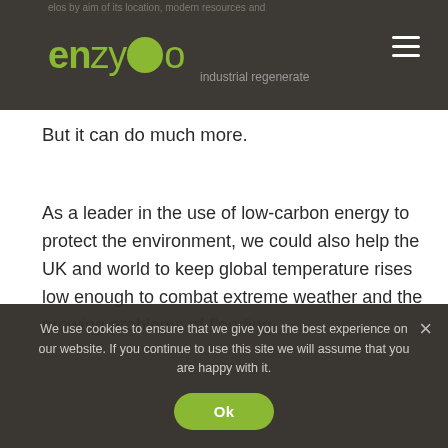enzygo | industrial regenerate
But it can do much more.
As a leader in the use of low-carbon energy to protect the environment, we could also help the UK and world to keep global temperature rises low enough to combat extreme weather and the growing problems of flooding.
And here, we are particularly fortunate. In an age
We use cookies to ensure that we give you the best experience on our website. If you continue to use this site we will assume that you are happy with it.